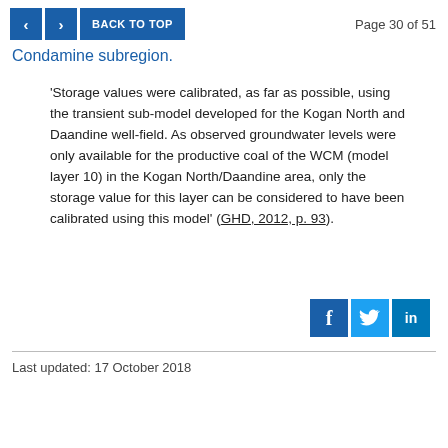Page 30 of 51
Condamine subregion.
'Storage values were calibrated, as far as possible, using the transient sub-model developed for the Kogan North and Daandine well-field. As observed groundwater levels were only available for the productive coal of the WCM (model layer 10) in the Kogan North/Daandine area, only the storage value for this layer can be considered to have been calibrated using this model' (GHD, 2012, p. 93).
[Figure (other): Social media share buttons: Facebook, Twitter, LinkedIn]
Last updated: 17 October 2018